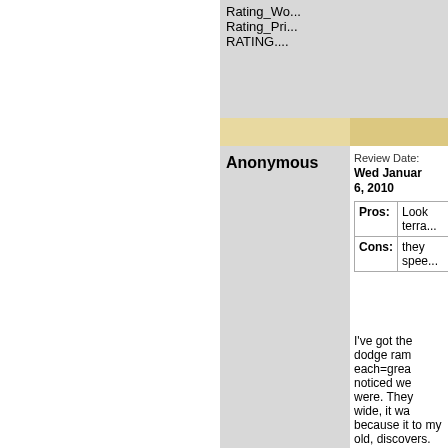Rating_Wo...
Rating_Pri...
RATING....
Anonymous
Review Date: Wed January 6, 2010
|  |  |
| --- | --- |
| Pros: | Look terra... |
| Cons: | they spee... |
I've got the dodge ram each=grea noticed we were. They wide, it wa because it to my old, discovers. mud, grav it. I make i mud pits w a group fu MTs, they gotten stu though (in